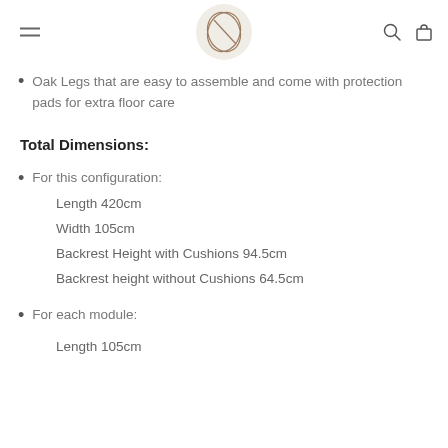[Logo] [hamburger menu] [search] [cart]
Oak Legs that are easy to assemble and come with protection pads for extra floor care
Total Dimensions:
For this configuration:
Length 420cm
Width 105cm
Backrest Height with Cushions 94.5cm
Backrest height without Cushions 64.5cm
For each module:
Length 105cm